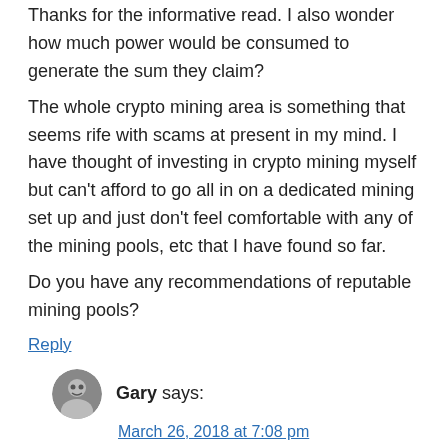Thanks for the informative read. I also wonder how much power would be consumed to generate the sum they claim?
The whole crypto mining area is something that seems rife with scams at present in my mind. I have thought of investing in crypto mining myself but can't afford to go all in on a dedicated mining set up and just don't feel comfortable with any of the mining pools, etc that I have found so far.
Do you have any recommendations of reputable mining pools?
Reply
Gary says:
March 26, 2018 at 7:08 pm
Hi Tony!